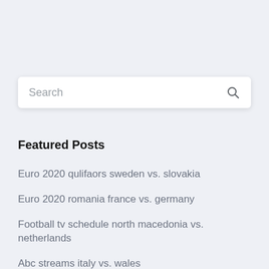[Figure (other): Search bar with placeholder text 'Search' and a magnifying glass icon on the right]
Featured Posts
Euro 2020 qulifaors sweden vs. slovakia
Euro 2020 romania france vs. germany
Football tv schedule north macedonia vs. netherlands
Abc streams italy vs. wales
Euro 2020 how many teams italy vs. wales